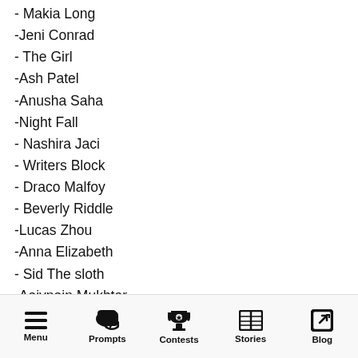- Makia Long
-Jeni Conrad
- The Girl
-Ash Patel
-Anusha Saha
-Night Fall
- Nashira Jaci
- Writers Block
- Draco Malfoy
- Beverly Riddle
-Lucas Zhou
-Anna Elizabeth
- Sid The sloth
-Aaiynain Mukhtar
-Paula Martinek
-Liana Seepersad
Menu  Prompts  Contests  Stories  Blog